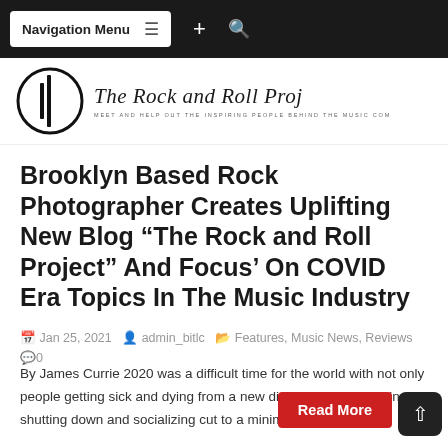Navigation Menu
[Figure (logo): The Rock and Roll Project logo with circular icon and script text]
Brooklyn Based Rock Photographer Creates Uplifting New Blog “The Rock and Roll Project” And Focus’ On COVID Era Topics In The Music Industry
Jan 25, 2021  admin_bitlc  Features, Music News, Reviews  0
By James Currie 2020 was a difficult time for the world with not only people getting sick and dying from a new disease, but everything shutting down and socializing cut to a minimum do to the...
Read More